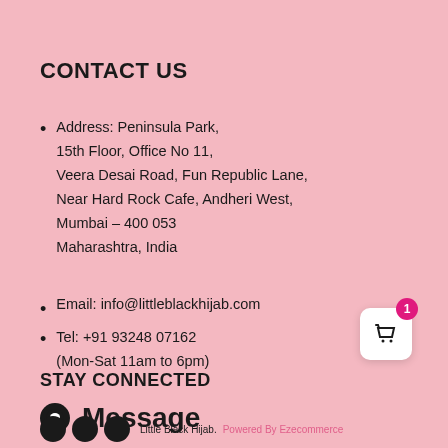CONTACT US
Address: Peninsula Park, 15th Floor, Office No 11, Veera Desai Road, Fun Republic Lane, Near Hard Rock Cafe, Andheri West, Mumbai – 400 053 Maharashtra, India
Email: info@littleblackhijab.com
Tel: +91 93248 07162 (Mon-Sat 11am to 6pm)
STAY CONNECTED
Message
Little Black Hijab. Powered By Ezecommerce